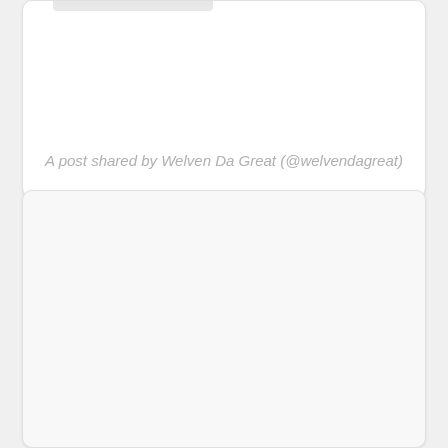A post shared by Welven Da Great (@welvendagreat)
[Figure (other): White card area, mostly blank/empty content region below the post attribution text]